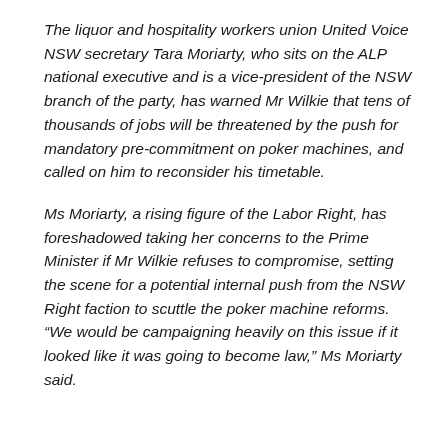The liquor and hospitality workers union United Voice NSW secretary Tara Moriarty, who sits on the ALP national executive and is a vice-president of the NSW branch of the party, has warned Mr Wilkie that tens of thousands of jobs will be threatened by the push for mandatory pre-commitment on poker machines, and called on him to reconsider his timetable.
Ms Moriarty, a rising figure of the Labor Right, has foreshadowed taking her concerns to the Prime Minister if Mr Wilkie refuses to compromise, setting the scene for a potential internal push from the NSW Right faction to scuttle the poker machine reforms. “We would be campaigning heavily on this issue if it looked like it was going to become law,” Ms Moriarty said.